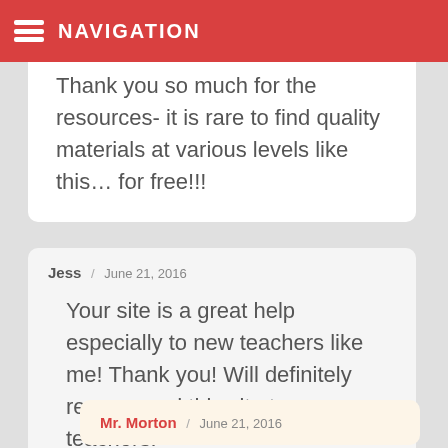NAVIGATION
Thank you so much for the resources- it is rare to find quality materials at various levels like this… for free!!!
Jess / June 21, 2016
Your site is a great help especially to new teachers like me! Thank you! Will definitely recommend this site to my co-teachers!
Mr. Morton / June 21, 2016